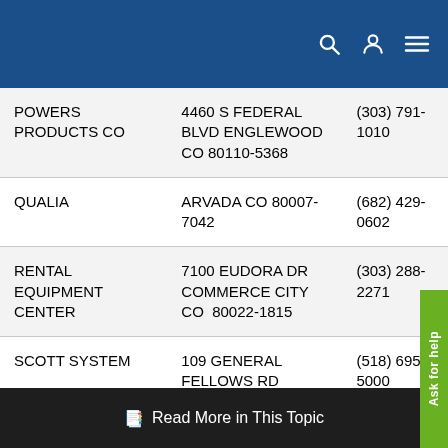Navigation bar with search, user, and menu icons
| Name | Address | Phone |
| --- | --- | --- |
| POWERS PRODUCTS CO | 4460 S FEDERAL BLVD ENGLEWOOD CO 80110-5368 | (303) 791-1010 |
| QUALIA | ARVADA CO 80007-7042 | (682) 429-0602 |
| RENTAL EQUIPMENT CENTER | 7100 EUDORA DR COMMERCE CITY CO  80022-1815 | (303) 288-2271 |
| SCOTT SYSTEM | 109 GENERAL FELLOWS RD GREENWICH NY 12834-4512 | (518) 695-5000 |
Read More in This Topic